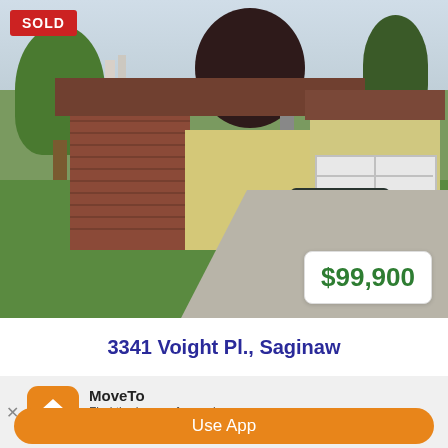[Figure (photo): Exterior photo of a single-story brick and siding ranch house with two-car garage, green lawn, trees, and driveway with dark SUV parked. Red 'SOLD' badge in top-left. Price badge showing $99,900 in bottom-right.]
3341 Voight Pl., Saginaw
MoveTo
Find the home of your dreams.
Use App